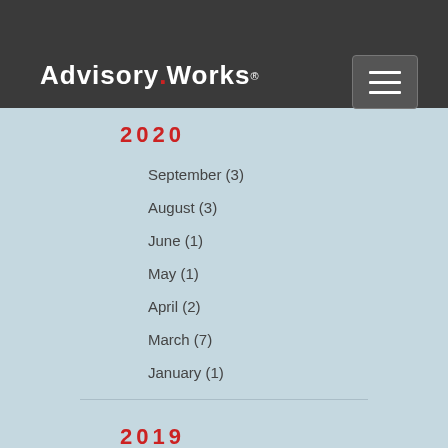August (1)
July (1)
[Figure (logo): Advisory.Works logo with red dot, white text on dark background, with hamburger menu button]
2020
September (3)
August (3)
June (1)
May (1)
April (2)
March (7)
January (1)
2019
December (3)
October (1)
September (4)
August (4)
July (5)